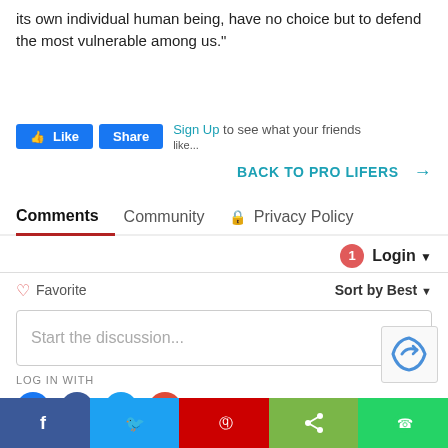its own individual human being, have no choice but to defend the most vulnerable among us."
[Figure (screenshot): Facebook Like and Share buttons with Sign Up text]
BACK TO PRO LIFERS →
Comments   Community   🔒 Privacy Policy
[Figure (screenshot): Comments section with Login button, notification badge showing 1, Favorite and Sort by Best options, Start the discussion input box, LOG IN WITH social icons, and reCAPTCHA widget]
[Figure (screenshot): Bottom share bar with Facebook, Twitter, Pinterest, Share, and WhatsApp buttons]